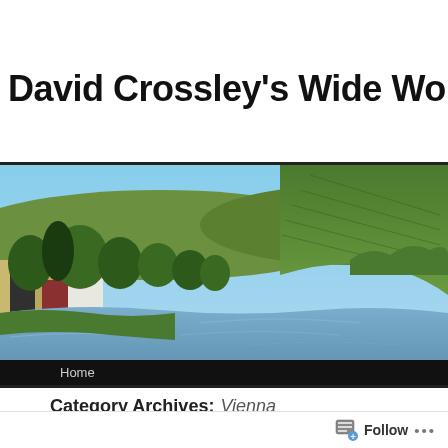David Crossley's Wide World o
[Figure (photo): Landscape photo of a river scene with green hillside vineyards in the background, trees and buildings along the left bank, and a calm river reflecting the scenery. Navigation bar at bottom reads 'Home'.]
Category Archives: Vienna
[Figure (other): WordPress Follow button with icon and ellipsis menu at bottom of page]